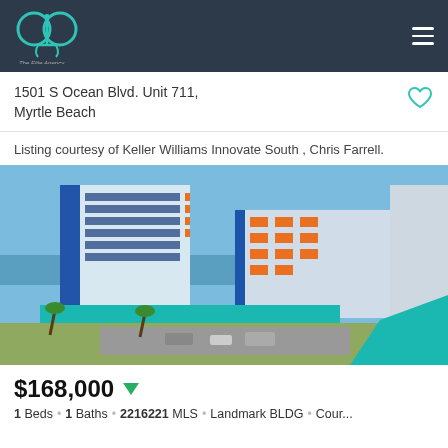The Elite Agency — navigation header
1501 S Ocean Blvd. Unit 711, Myrtle Beach
Listing courtesy of Keller Williams Innovate South , Chris Farrell.
[Figure (photo): Aerial/exterior view of a large blue and white beachfront hotel/condominium building with orange accents, teal awnings, palm trees, and ocean visible in background — Landmark Resort, Myrtle Beach]
$168,000
1 Beds • 1 Baths • 2216221 MLS • Landmark BLDG • Cour...